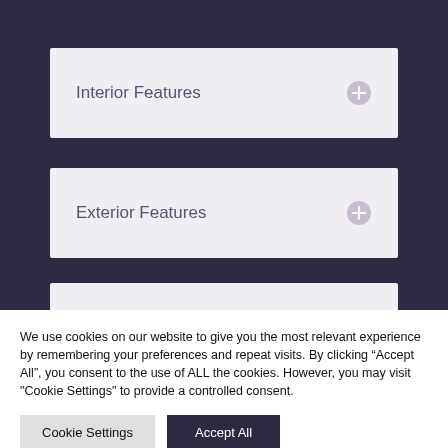Interior Features
Exterior Features
Options
We use cookies on our website to give you the most relevant experience by remembering your preferences and repeat visits. By clicking “Accept All”, you consent to the use of ALL the cookies. However, you may visit "Cookie Settings" to provide a controlled consent.
Cookie Settings
Accept All